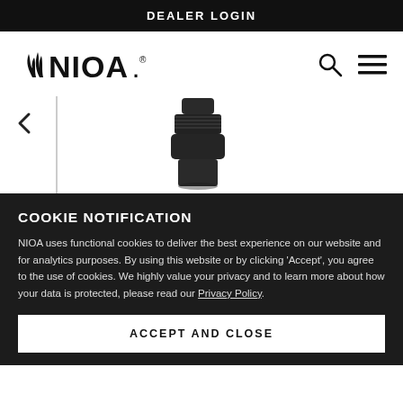DEALER LOGIN
[Figure (logo): NIOA brand logo with stylized flame/arrow icon]
[Figure (photo): Close-up of a dark metal firearm suppressor/muzzle device component against white background]
COOKIE NOTIFICATION
NIOA uses functional cookies to deliver the best experience on our website and for analytics purposes. By using this website or by clicking 'Accept', you agree to the use of cookies. We highly value your privacy and to learn more about how your data is protected, please read our Privacy Policy.
ACCEPT AND CLOSE